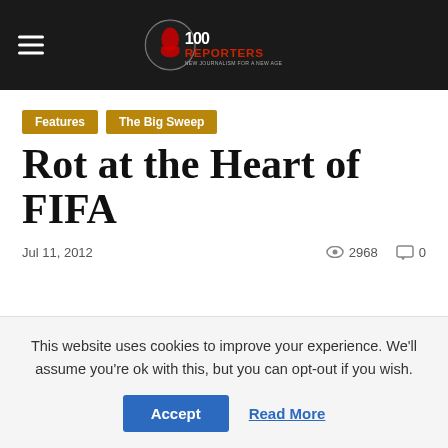100Reporters — New Journalism for a New Age
Features
The Big Sweep
Rot at the Heart of FIFA
Jul 11, 2012   2968   0
This website uses cookies to improve your experience. We'll assume you're ok with this, but you can opt-out if you wish.
Accept   Read More